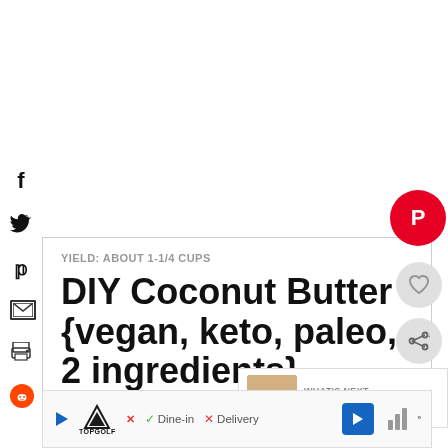[Figure (screenshot): Social media share sidebar icons: Facebook (f), Twitter (bird), Pinterest (p), Email (envelope), Print, Reddit]
YIELD: ABOUT 1-1/4 CUPS
DIY Coconut Butter {vegan, keto, paleo, 2 ingredients}
[Figure (screenshot): What's Next card showing Healthy 2-Ingredient... with food thumbnail]
[Figure (screenshot): Advertisement banner: Topgolf - Dine-in, Delivery with navigation icons]